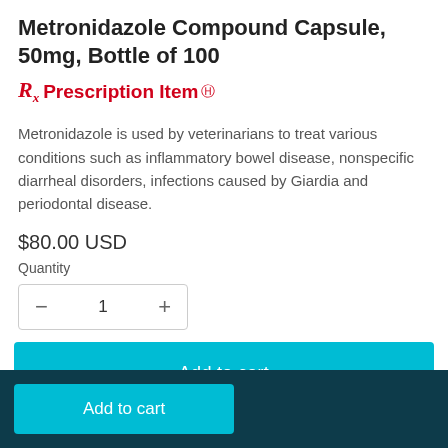Metronidazole Compound Capsule, 50mg, Bottle of 100
Rx Prescription Item ⊕
Metronidazole is used by veterinarians to treat various conditions such as inflammatory bowel disease, nonspecific diarrheal disorders, infections caused by Giardia and periodontal disease.
$80.00 USD
Quantity
− 1 +
Add to cart
Add to cart